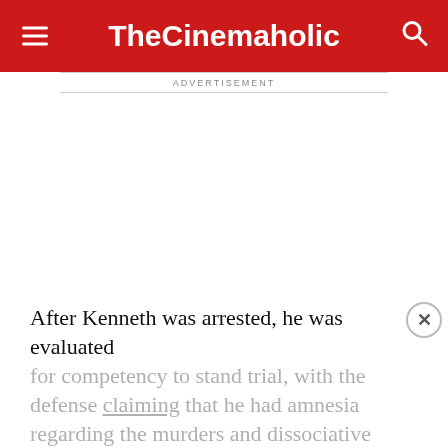TheCinemaholic
ADVERTISEMENT
After Kenneth was arrested, he was evaluated for competency to stand trial, with the defense claiming that he had amnesia regarding the murders and dissociative